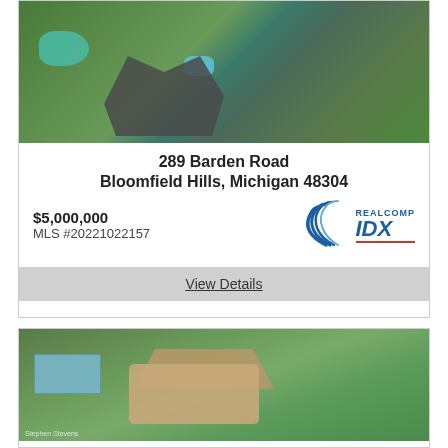[Figure (photo): Aerial view of a large mansion with green pool and dark angular roof, surrounded by trees and lush greenery]
289 Barden Road
Bloomfield Hills, Michigan 48304
$5,000,000
[Figure (logo): Realcomp IDX logo with wave graphic]
MLS #20221022157
View Details
[Figure (photo): Aerial view of a large mansion with tennis court, pool, and circular driveway surrounded by green lawns and trees]
1100 Orchard Ridge Road